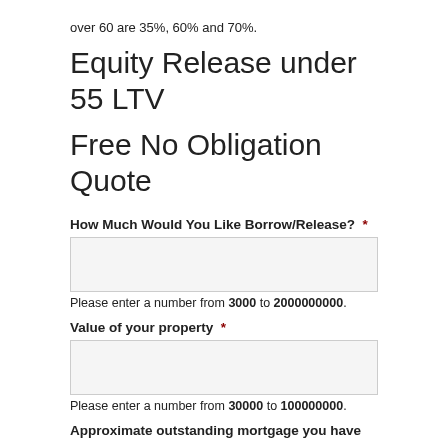over 60 are 35%, 60% and 70%.
Equity Release under 55 LTV
Free No Obligation Quote
How Much Would You Like Borrow/Release?  *
Please enter a number from 3000 to 2000000000.
Value of your property  *
Please enter a number from 30000 to 100000000.
Approximate outstanding mortgage you have